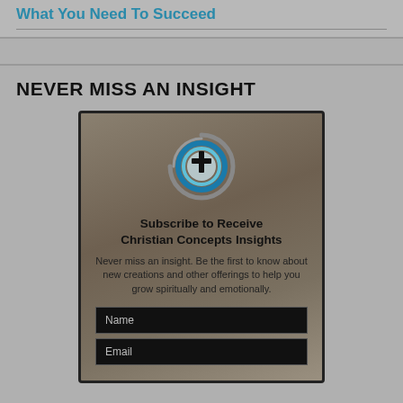What You Need To Succeed
NEVER MISS AN INSIGHT
[Figure (logo): Christian Concepts circular logo with a cross in the center, surrounded by blue and gray swirling rings]
Subscribe to Receive Christian Concepts Insights
Never miss an insight. Be the first to know about new creations and other offerings to help you grow spiritually and emotionally.
Name
Email